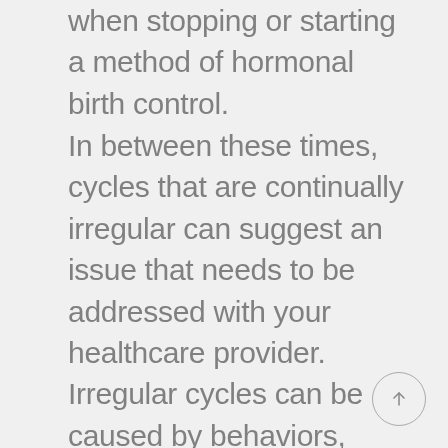when stopping or starting a method of hormonal birth control.
In between these times, cycles that are continually irregular can suggest an issue that needs to be addressed with your healthcare provider. Irregular cycles can be caused by behaviors, lifestyle, and environment. They can also be caused by medical conditions that affect your hormones or structural reproductive tract. These conditions often go undiagnosed and untreated.